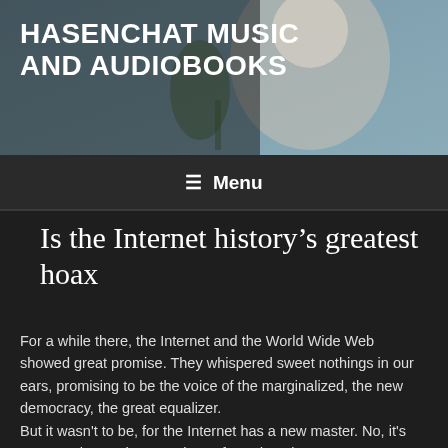[Figure (photo): Header banner photo of a blonde woman, blurred background with green plant, overlaid with site title text]
HASENCHAT MUSIC AND AUDIOBOOKS
Menu
Is the Internet history's greatest hoax
For a while there, the Internet and the World Wide Web showed great promise. They whispered sweet nothings in our ears, promising to be the voice of the marginalized, the new democracy, the great equalizer.
But it wasn't to be, for the Internet has a new master. No, it's not Google. No, it's not Microsoft. And no, it's not